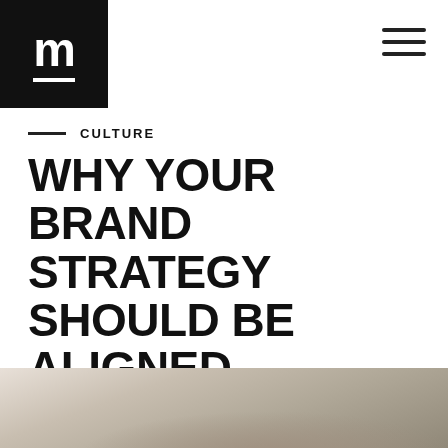[Figure (logo): Medium-style logo: black square with white 'm' letter and underline, top-left header]
hamburger menu icon, top-right
CULTURE
WHY YOUR BRAND STRATEGY SHOULD BE ALIGNED ANNUALLY
Maddy Osman
4 MIN READ
[Figure (photo): Blurred photo of a notebook with handwriting at the bottom of the page]